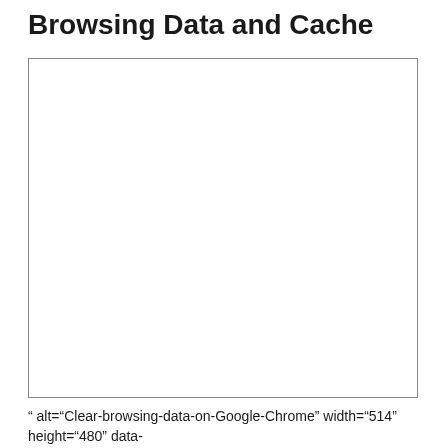Browsing Data and Cache
[Figure (screenshot): Empty white box with border, representing a placeholder for a screenshot of Clear-browsing-data-on-Google-Chrome]
" alt="Clear-browsing-data-on-Google-Chrome" width="514" height="480" data-